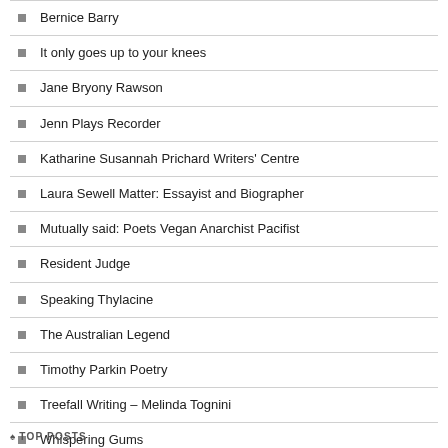Bernice Barry
It only goes up to your knees
Jane Bryony Rawson
Jenn Plays Recorder
Katharine Susannah Prichard Writers' Centre
Laura Sewell Matter: Essayist and Biographer
Mutually said: Poets Vegan Anarchist Pacifist
Resident Judge
Speaking Thylacine
The Australian Legend
Timothy Parkin Poetry
Treefall Writing – Melinda Tognini
Whispering Gums
Wrapped up in books: the home of Guy Salvidge
TOP POSTS